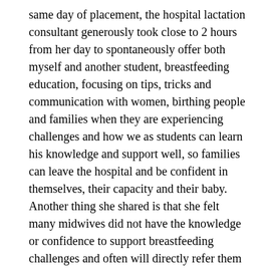same day of placement, the hospital lactation consultant generously took close to 2 hours from her day to spontaneously offer both myself and another student, breastfeeding education, focusing on tips, tricks and communication with women, birthing people and families when they are experiencing challenges and how we as students can learn his knowledge and support well, so families can leave the hospital and be confident in themselves, their capacity and their baby. Another thing she shared is that she felt many midwives did not have the knowledge or confidence to support breastfeeding challenges and often will directly refer them onto the lactation consultant quickly, who she feels is for more challenging difficulties such as tongue ties etc. And with this she highlighted how governing bodies placed much more importance upon the CTG exams for midwives, and very little but on